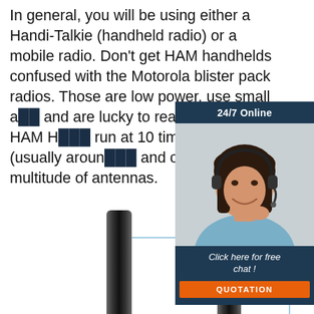In general, you will be using either a Handi-Talkie (handheld radio) or a mobile radio. Don't get HAM handhelds confused with the Motorola blister pack radios. Those are low power, use small a... and are lucky to reach out a mile. HAM H... run at 10 times the power (usually aroun... and can use a multitude of antennas.
[Figure (infographic): Chat widget advertisement showing a woman wearing a headset. Header says '24/7 Online'. Bottom says 'Click here for free chat!' with an orange 'QUOTATION' button.]
Get Price
[Figure (infographic): TOP button with orange dots arranged in an arc above orange text 'TOP']
[Figure (photo): Bottom portion of the page showing tops of two black antenna rods with a light blue horizontal and vertical line forming a corner shape.]